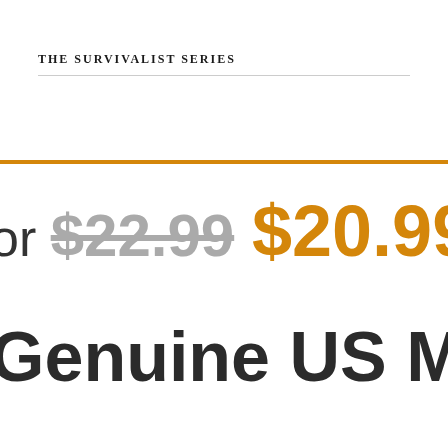THE SURVIVALIST SERIES
or $22.99 $20.99
Genuine US Milit